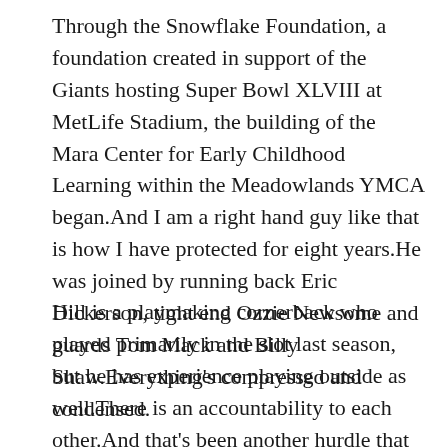Through the Snowflake Foundation, a foundation created in support of the Giants hosting Super Bowl XLVIII at MetLife Stadium, the building of the Mara Center for Early Childhood Learning within the Meadowlands YMCA began.And I am a right hand guy like that is how I have protected for eight years.He was joined by running back Eric Dickerson, tight end Ozzie Newsome and guards Tom Mack and Billy Shaw.Everything's compressed and condensed.
Hill is a playmaking cornerback who played primarily in the slot last season, but he has experience playing outside as well.There is an accountability to each other.And that's been another hurdle that you have to get over, I guess you can say, in a sense that you know, as a former player, you'd like to believe that you've done it, you got it, you ignore everything.